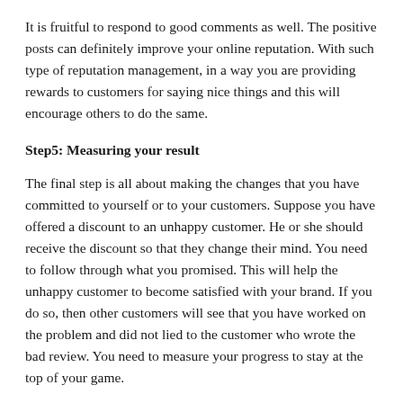It is fruitful to respond to good comments as well. The positive posts can definitely improve your online reputation. With such type of reputation management, in a way you are providing rewards to customers for saying nice things and this will encourage others to do the same.
Step5: Measuring your result
The final step is all about making the changes that you have committed to yourself or to your customers. Suppose you have offered a discount to an unhappy customer. He or she should receive the discount so that they change their mind. You need to follow through what you promised. This will help the unhappy customer to become satisfied with your brand. If you do so, then other customers will see that you have worked on the problem and did not lied to the customer who wrote the bad review. You need to measure your progress to stay at the top of your game.